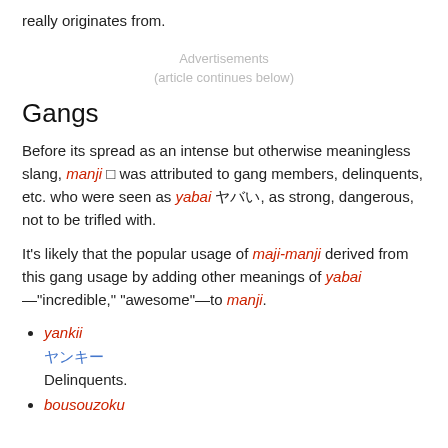really originates from.
Advertisements
(article continues below)
Gangs
Before its spread as an intense but otherwise meaningless slang, manji □ was attributed to gang members, delinquents, etc. who were seen as yabai ヤバい, as strong, dangerous, not to be trifled with.
It's likely that the popular usage of maji-manji derived from this gang usage by adding other meanings of yabai—"incredible," "awesome"—to manji.
yankii
ヤンキー
Delinquents.
bousouzoku